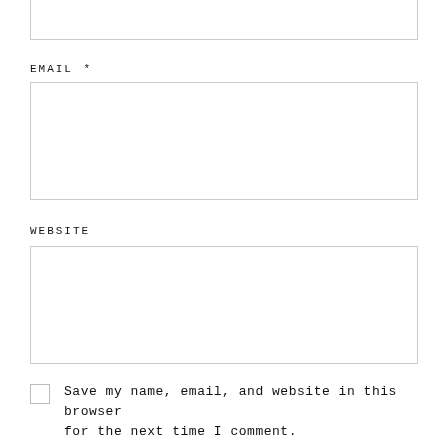EMAIL *
WEBSITE
Save my name, email, and website in this browser for the next time I comment.
Replies to my comments
NOTIFY ME OF FOLLOWUP COMMENTS VIA E